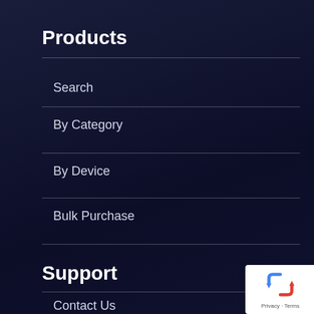Products
Search
By Category
By Device
Bulk Purchase
Support
Contact Us
[Figure (logo): Google reCAPTCHA badge with Privacy and Terms text]